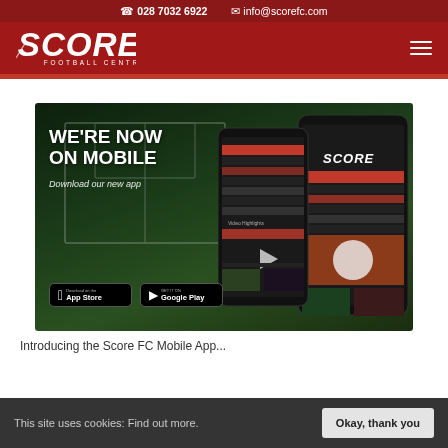028 7032 6922   info@scorefc.com
[Figure (logo): SCORE Football Centres logo in white italic text on dark red background with hamburger menu icon]
[Figure (screenshot): Promotional banner showing 'WE'RE NOW ON MOBILE - Download our new app' with App Store and Google Play buttons, two smartphone mockups showing Score FC app, football pitch background]
Introducing the Score FC Mobile App
This site uses cookies: Find out more.